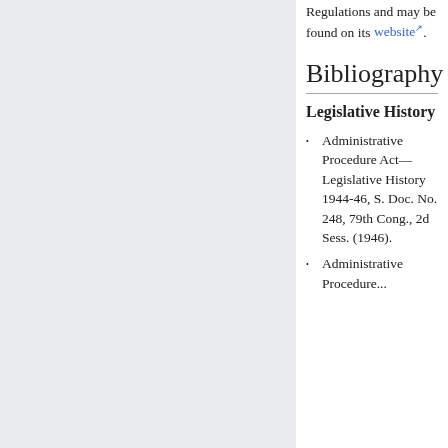Regulations and may be found on its website.
Bibliography
Legislative History
Administrative Procedure Act—Legislative History 1944-46, S. Doc. No. 248, 79th Cong., 2d Sess. (1946).
Administrative Procedure...